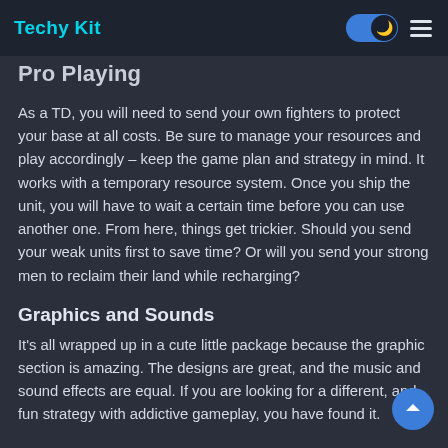Techy Kit
Pro Playing
As a TD, you will need to send your own fighters to protect your base at all costs. Be sure to manage your resources and play accordingly – keep the game plan and strategy in mind. It works with a temporary resource system. Once you ship the unit, you will have to wait a certain time before you can use another one. From here, things get trickier. Should you send your weak units first to save time? Or will you send your strong men to reclaim their land while recharging?
Graphics and Sounds
It's all wrapped up in a cute little package because the graphic section is amazing. The designs are great, and the music and sound effects are equal. If you are looking for a different, and fun strategy with addictive gameplay, you have found it.